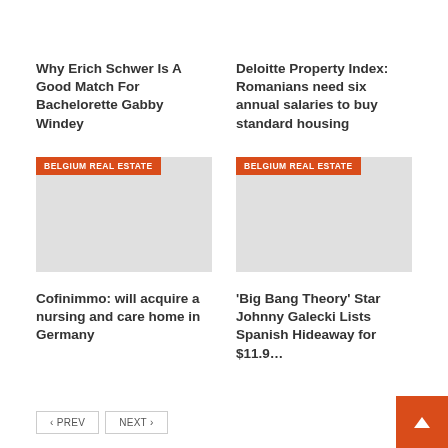Why Erich Schwer Is A Good Match For Bachelorette Gabby Windey
Deloitte Property Index: Romanians need six annual salaries to buy standard housing
[Figure (photo): Placeholder image with BELGIUM REAL ESTATE tag badge]
[Figure (photo): Placeholder image with BELGIUM REAL ESTATE tag badge]
Cofinimmo: will acquire a nursing and care home in Germany
'Big Bang Theory' Star Johnny Galecki Lists Spanish Hideaway for $11.9…
‹ PREV   NEXT ›